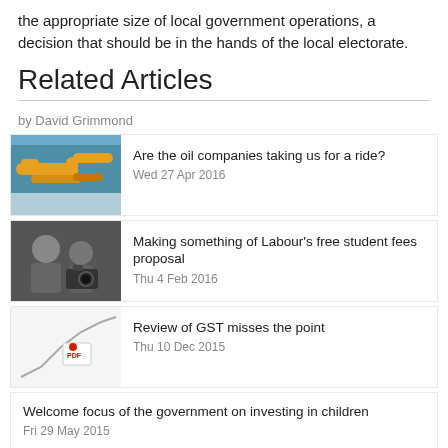the appropriate size of local government operations, a decision that should be in the hands of the local electorate.
Related Articles
by David Grimmond
Are the oil companies taking us for a ride? Wed 27 Apr 2016
Making something of Labour's free student fees proposal Thu 4 Feb 2016
Review of GST misses the point Thu 10 Dec 2015
Welcome focus of the government on investing in children Fri 29 May 2015